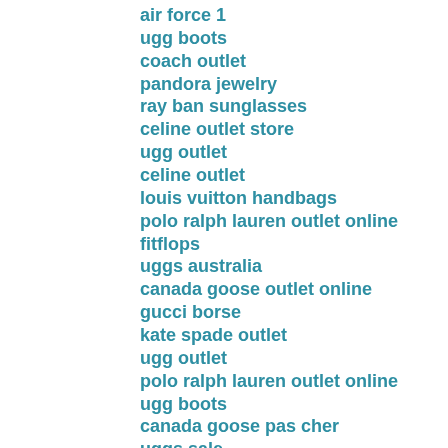air force 1
ugg boots
coach outlet
pandora jewelry
ray ban sunglasses
celine outlet store
ugg outlet
celine outlet
louis vuitton handbags
polo ralph lauren outlet online
fitflops
uggs australia
canada goose outlet online
gucci borse
kate spade outlet
ugg outlet
polo ralph lauren outlet online
ugg boots
canada goose pas cher
uggs sale
oakley sunglasses outlet
gucci handbags